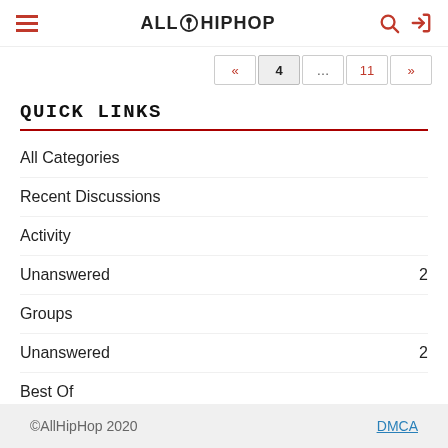ALLHIPHOP
« 4 … 11 »
QUICK LINKS
All Categories
Recent Discussions
Activity
Unanswered 2
Groups
Unanswered 2
Best Of
©AllHipHop 2020   DMCA